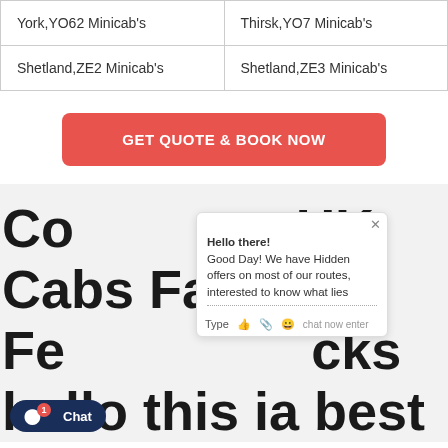| York,YO62 Minicab's | Thirsk,YO7 Minicab's |
| Shetland,ZE2 Minicab's | Shetland,ZE3 Minicab's |
GET QUOTE & BOOK NOW
[Figure (screenshot): Chat popup widget showing 'Hello there! Good Day! We have Hidden offers on most of our routes, interested to know what lies' with Type input and emoji/attachment icons, and a close (x) button.]
Compare UK Cabs Fares in February — checks hello this ia best place to find the taxi fare from lowest and reliable providers in your local area